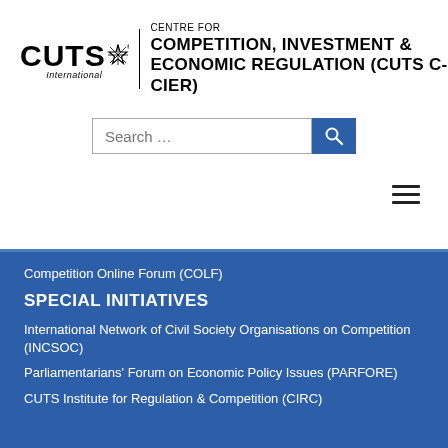[Figure (logo): CUTS International logo with star emblem and vertical divider, alongside text 'CENTRE FOR COMPETITION, INVESTMENT & ECONOMIC REGULATION (CUTS C-CIER)']
Search ...
≡ (hamburger menu icon)
Competition Online Forum (COLF)
SPECIAL INITIATIVES
International Network of Civil Society Organisations on Competition (INCSOC)
Parliamentarians' Forum on Economic Policy Issues (PARFORE)
CUTS Institute for Regulation & Competition (CIRC)